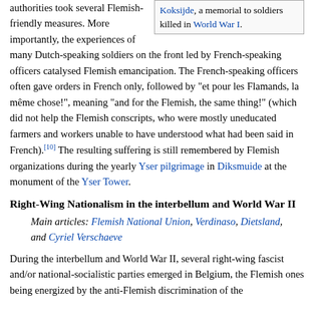[Figure (other): Infobox referencing Koksijde, a memorial to soldiers killed in World War I.]
authorities took several Flemish-friendly measures. More importantly, the experiences of many Dutch-speaking soldiers on the front led by French-speaking officers catalysed Flemish emancipation. The French-speaking officers often gave orders in French only, followed by "et pour les Flamands, la même chose!", meaning "and for the Flemish, the same thing!" (which did not help the Flemish conscripts, who were mostly uneducated farmers and workers unable to have understood what had been said in French).[10] The resulting suffering is still remembered by Flemish organizations during the yearly Yser pilgrimage in Diksmuide at the monument of the Yser Tower.
Right-Wing Nationalism in the interbellum and World War II
Main articles: Flemish National Union, Verdinaso, Dietsland, and Cyriel Verschaeve
During the interbellum and World War II, several right-wing fascist and/or national-socialistic parties emerged in Belgium, the Flemish ones being energized by the anti-Flemish discrimination of the